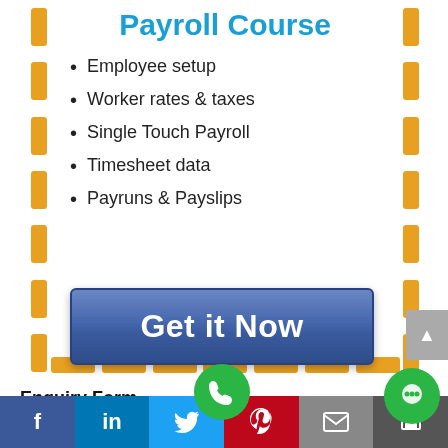Payroll Course
Employee setup
Worker rates & taxes
Single Touch Payroll
Timesheet data
Payruns & Payslips
[Figure (other): Blue CTA button labeled 'Get it Now']
Enquiry Form
[Figure (other): Social media bar with Facebook, LinkedIn, Twitter, Pinterest, Email, Print icons; green phone FAB and green chat FAB overlaid]